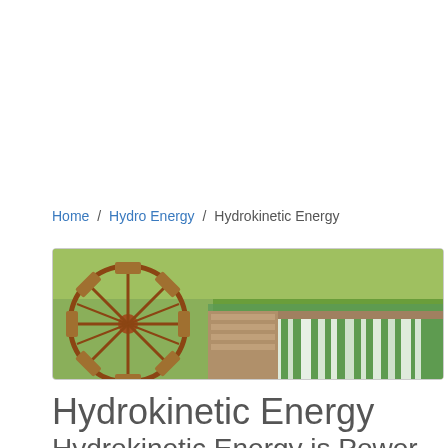Home / Hydro Energy / Hydrokinetic Energy
[Figure (photo): Wide banner photo of a water mill wheel on the left and a cascading waterfall/weir on the right, set in a green outdoor environment.]
Hydrokinetic Energy
Hydrokinetic Energy is Power